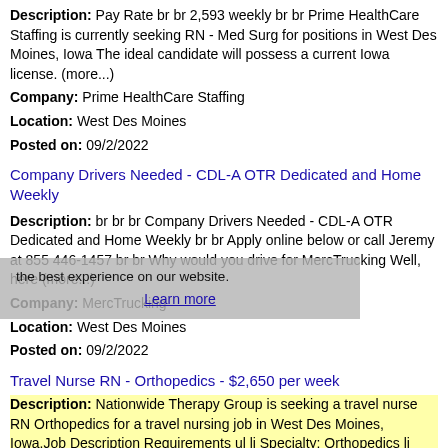Description: Pay Rate br br 2,593 weekly br br Prime HealthCare Staffing is currently seeking RN - Med Surg for positions in West Des Moines, Iowa The ideal candidate will possess a current Iowa license. (more...)
Company: Prime HealthCare Staffing
Location: West Des Moines
Posted on: 09/2/2022
Company Drivers Needed - CDL-A OTR Dedicated and Home Weekly
Description: br br br Company Drivers Needed - CDL-A OTR Dedicated and Home Weekly br br Apply online below or call Jeremy at 855 446-1457 br br Why would you drive for MercTrucking Well, here (more...)
Company: MercTrucking
Location: West Des Moines
Posted on: 09/2/2022
Travel Nurse RN - Orthopedics - $2,650 per week
Description: Nationwide Therapy Group is seeking a travel nurse RN Orthopedics for a travel nursing job in West Des Moines, Iowa.Job Description Requirements ul li Specialty: Orthopedics li Discipline:
Company: Nationwide Therapy Group
Location: West Des Moines